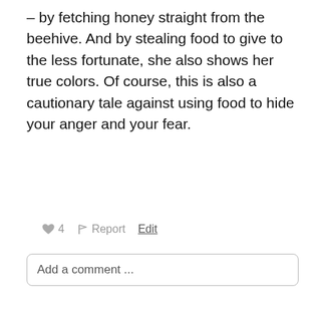– by fetching honey straight from the beehive. And by stealing food to give to the less fortunate, she also shows her true colors. Of course, this is also a cautionary tale against using food to hide your anger and your fear.
♥ 4   ⚑ Report   Edit
Add a comment ...
[Figure (other): NEXT button with arrow icon, red pill-shaped button with black border, followed by 'on Newz Online' text]
[Figure (other): Gray user avatar placeholder icon (circle with person silhouette)]